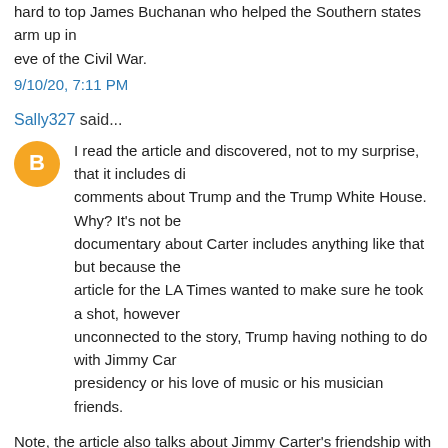hard to top James Buchanan who helped the Southern states arm up in eve of the Civil War.
9/10/20, 7:11 PM
Sally327 said...
I read the article and discovered, not to my surprise, that it includes di comments about Trump and the Trump White House. Why? It's not be documentary about Carter includes anything like that but because the article for the LA Times wanted to make sure he took a shot, however unconnected to the story, Trump having nothing to do with Jimmy Car presidency or his love of music or his musician friends.
Note, the article also talks about Jimmy Carter's friendship with Bob D Which some might consider cosmically cool, just generally, not needin or having to be on the White House roof. I'm betting they talked faith back in the day.
I personally think cosmically cool was when John Travolta danced wi Diana in the Reagan White House.